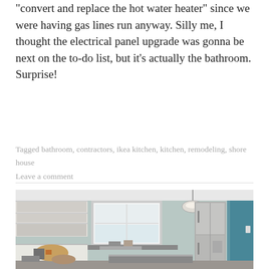“convert and replace the hot water heater” since we were having gas lines run anyway. Silly me, I thought the electrical panel upgrade was gonna be next on the to-do list, but it’s actually the bathroom. Surprise!
Tagged bathroom, contractors, ikea kitchen, kitchen, remodeling, shore house
Leave a comment
[Figure (photo): Kitchen renovation in progress: white cabinets with open shelving on left, window in center, stainless steel refrigerator on right, pendant light hanging from ceiling, construction materials and clutter on counters and floor, light blue-green walls.]